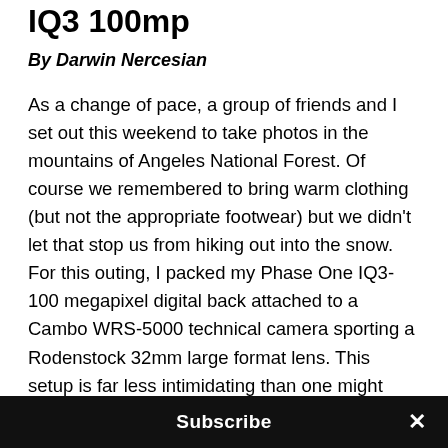IQ3 100mp
By Darwin Nercesian
As a change of pace, a group of friends and I set out this weekend to take photos in the mountains of Angeles National Forest. Of course we remembered to bring warm clothing (but not the appropriate footwear) but we didn't let that stop us from hiking out into the snow. For this outing, I packed my Phase One IQ3-100 megapixel digital back attached to a Cambo WRS-5000 technical camera sporting a Rodenstock 32mm large format lens. This setup is far less intimidating than one might think, especially with the addition of the electronic shutter on the IQ3-100. Of course, I did forget my LCC card and I still haven't found a way to compress the images for the web in a
Subscribe ×